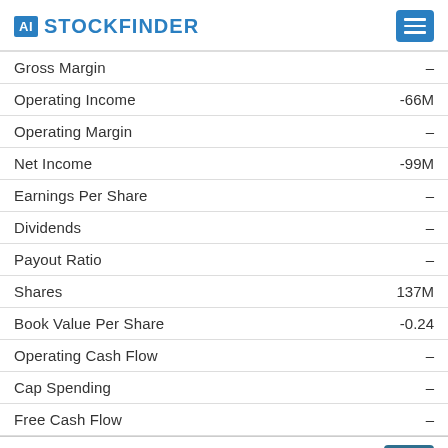AI STOCKFINDER
|  |  |
| --- | --- |
| Gross Margin | – |
| Operating Income | -66M |
| Operating Margin | – |
| Net Income | -99M |
| Earnings Per Share | – |
| Dividends | – |
| Payout Ratio | – |
| Shares | 137M |
| Book Value Per Share | -0.24 |
| Operating Cash Flow | – |
| Cap Spending | – |
| Free Cash Flow | – |
Three months stock forecast